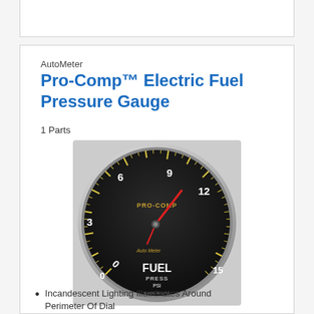[Figure (photo): Product photo of AutoMeter Pro-Comp electric fuel pressure gauge with black face, chrome bezel, red needle, yellow markings showing 0-15 PSI scale]
AutoMeter
Pro-Comp™ Electric Fuel Pressure Gauge
1 Parts
Incandescent Lighting Illuminates Around Perimeter Of Dial